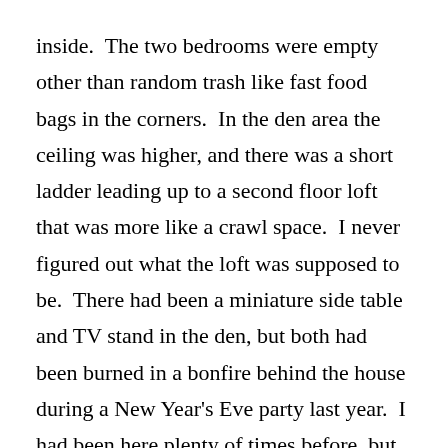inside.  The two bedrooms were empty other than random trash like fast food bags in the corners.  In the den area the ceiling was higher, and there was a short ladder leading up to a second floor loft that was more like a crawl space.  I never figured out what the loft was supposed to be.  There had been a miniature side table and TV stand in the den, but both had been burned in a bonfire behind the house during a New Year's Eve party last year.  I had been here plenty of times before, but never at night.  There were plenty of ghost rumors, and we all wanted to believe them.